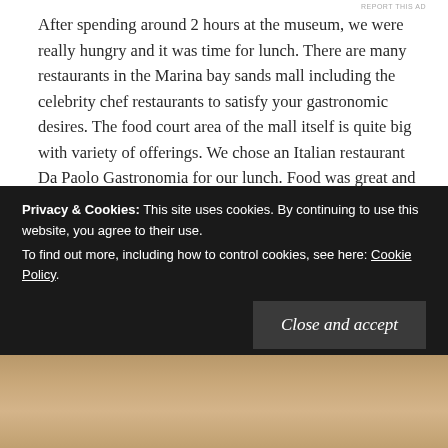After spending around 2 hours at the museum, we were really hungry and it was time for lunch. There are many restaurants in the Marina bay sands mall including the celebrity chef restaurants to satisfy your gastronomic desires. The food court area of the mall itself is quite big with variety of offerings. We chose an Italian restaurant Da Paolo Gastronomia for our lunch. Food was great and service was quick. We loved the place so much that visited it again for the dinner the next day.
Privacy & Cookies: This site uses cookies. By continuing to use this website, you agree to their use.
To find out more, including how to control cookies, see here: Cookie Policy.
[Figure (photo): Food photo at the bottom of the page, partially visible]
Close and accept